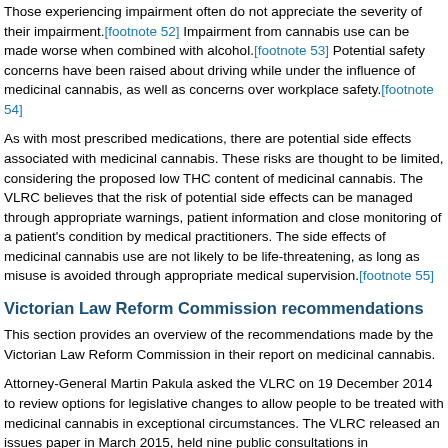Those experiencing impairment often do not appreciate the severity of their impairment.[footnote 52] Impairment from cannabis use can be made worse when combined with alcohol.[footnote 53] Potential safety concerns have been raised about driving while under the influence of medicinal cannabis, as well as concerns over workplace safety.[footnote 54]
As with most prescribed medications, there are potential side effects associated with medicinal cannabis. These risks are thought to be limited, considering the proposed low THC content of medicinal cannabis. The VLRC believes that the risk of potential side effects can be managed through appropriate warnings, patient information and close monitoring of a patient's condition by medical practitioners. The side effects of medicinal cannabis use are not likely to be life-threatening, as long as misuse is avoided through appropriate medical supervision.[footnote 55]
Victorian Law Reform Commission recommendations
This section provides an overview of the recommendations made by the Victorian Law Reform Commission in their report on medicinal cannabis.
Attorney-General Martin Pakula asked the VLRC on 19 December 2014 to review options for legislative changes to allow people to be treated with medicinal cannabis in exceptional circumstances. The VLRC released an issues paper in March 2015, held nine public consultations in metropolitan and regional Victoria, and received 99 submissions.[footnote 56] The VLRC